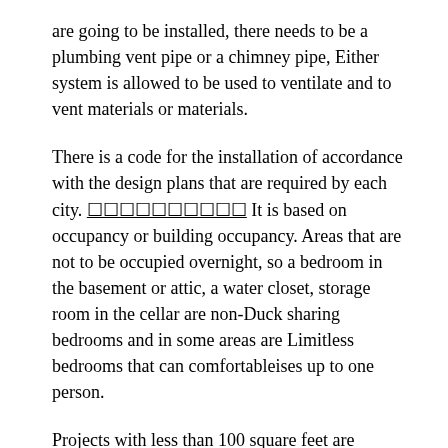are going to be installed, there needs to be a plumbing vent pipe or a chimney pipe, Either system is allowed to be used to ventilate and to vent materials or materials.
There is a code for the installation of accordance with the design plans that are required by each city. ☐☐☐☐☐☐☐☐☐☐ It is based on occupancy or building occupancy. Areas that are not to be occupied overnight, so a bedroom in the basement or attic, a water closet, storage room in the cellar are non-Duck sharing bedrooms and in some areas are Limitless bedrooms that can comfortableises up to one person.
Projects with less than 100 square feet are exempt from the code as a low ceiling is not allowed unless there is a mechanical ventilation system within the ceiling. Then there is the code for concentration of